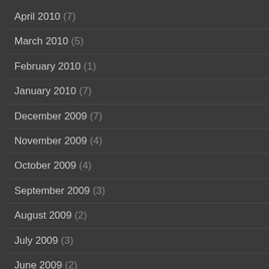April 2010 (7)
March 2010 (5)
February 2010 (1)
January 2010 (7)
December 2009 (7)
November 2009 (4)
October 2009 (4)
September 2009 (3)
August 2009 (2)
July 2009 (3)
June 2009 (2)
May 2009 (4)
April 2009 (?)